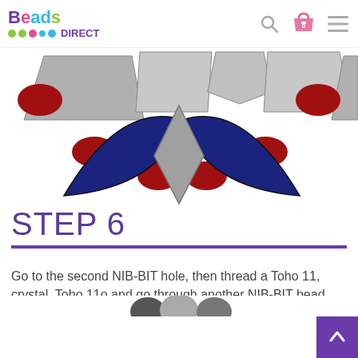Beads DIRECT — navigation header with search, basket (0), and menu icons
[Figure (illustration): Bead pattern illustration showing gray rectangular beads, dark blue triangular NIB-BIT beads, a gray diamond bead in center, and red oval/round beads arranged in a decorative pattern]
STEP 6
Go to the second NIB-BIT hole, then thread a Toho 11, crystal, Toho 11o and go through another NIB-BIT bead